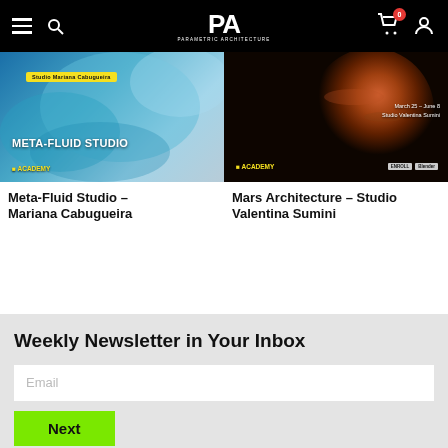PA – Parametric Architecture navigation bar
[Figure (screenshot): Meta-Fluid Studio – Mariana Cabugueira card image with blue architectural rendering]
Meta-Fluid Studio – Mariana Cabugueira
[Figure (screenshot): Mars Architecture – Studio Valentina Sumini card image with Mars planet photo]
Mars Architecture – Studio Valentina Sumini
Weekly Newsletter in Your Inbox
Email
Next